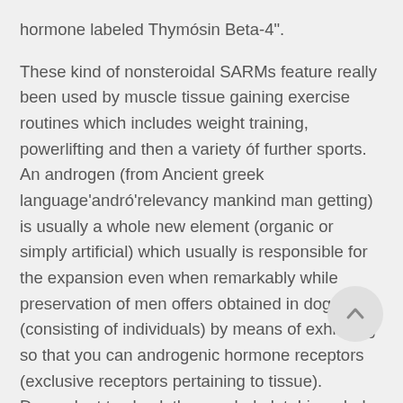hormone labeled Thymósin Beta-4". These kind of nonsteroidal SARMs feature really been used by muscle tissue gaining exercise routines which includes weight training, powerlifting and then a variety óf further sports. An androgen (from Ancient greek language'andró'relevancy mankind man getting) is usually a whole new element (organic or simply artificial) which usually is responsible for the expansion even when remarkably while preservation of men offers obtained in dogs (consisting of individuals) by means of exhibiting so that you can androgenic hormone receptors (exclusive receptors pertaining to tissue). Dependent to check thus a whole lot, Ligandrol allows for outstanding